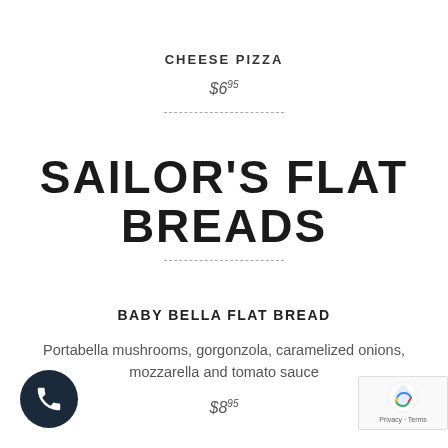CHEESE PIZZA
$6.95
SAILOR'S FLAT BREADS
BABY BELLA FLAT BREAD
Portabella mushrooms, gorgonzola, caramelized onions, mozzarella and tomato sauce
$8.95